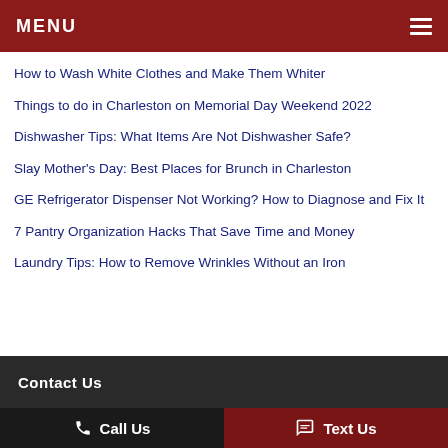MENU
How to Wash White Clothes and Make Them Whiter
Things to do in Charleston on Memorial Day Weekend 2022
Dishwasher Tips: What Items Are Not Dishwasher Safe?
Slay Mother's Day: Best Places for Brunch in Charleston
GE Refrigerator Dispenser Not Working? How to Diagnose and Fix It
7 Pantry Organization Hacks That Save Time and Money
Laundry Tips: How to Remove Wrinkles Without an Iron
Contact Us | Call Us | Text Us